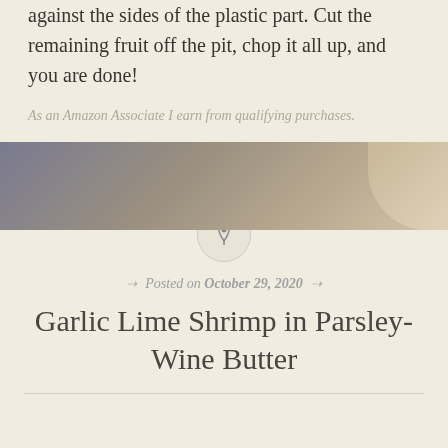against the sides of the plastic part. Cut the remaining fruit off the pit, chop it all up, and you are done!
As an Amazon Associate I earn from qualifying purchases.
[Figure (photo): A horizontal photo strip showing a blurred food or kitchen image with grey-purple and warm tan tones, partially cropped]
Garlic Lime Shrimp in Parsley-Wine Butter
Posted on October 29, 2020